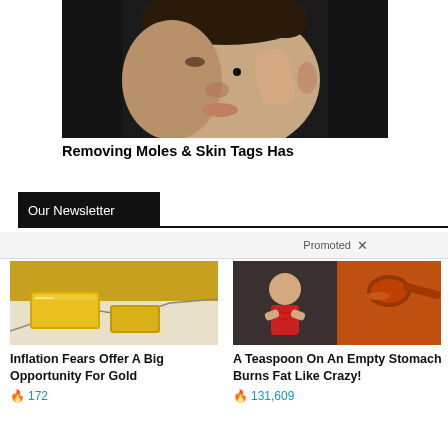[Figure (photo): Close-up photo of a young man's face touching a mole on his cheek with his finger against a dark background]
Removing Moles & Skin Tags Has
Our Newsletter
Promoted  X
[Figure (photo): Photo of gold bars on top of financial charts]
Inflation Fears Offer A Big Opportunity For Gold
🔥 172
[Figure (photo): Split photo showing a fit woman with abs on left and a spoon of spice on right]
A Teaspoon On An Empty Stomach Burns Fat Like Crazy!
🔥 131,609